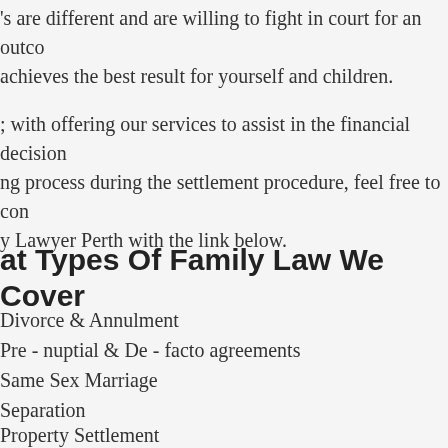's are different and are willing to fight in court for an outcome that achieves the best result for yourself and children.
; with offering our services to assist in the financial decision making process during the settlement procedure, feel free to contact Family Lawyer Perth with the link below.
at Types Of Family Law We Cover
Divorce & Annulment
Pre - nuptial & De - facto agreements
Same Sex Marriage
Separation
Property Settlement
Child Custody
Adoption
Working with Children